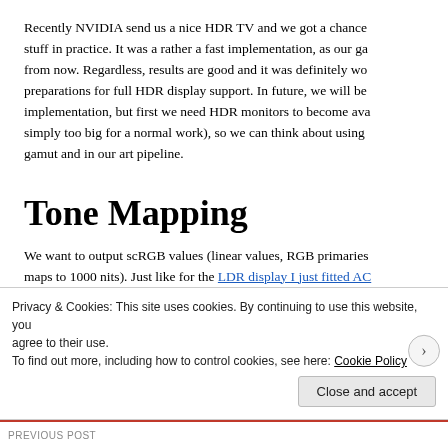Recently NVIDIA send us a nice HDR TV and we got a chance stuff in practice. It was a rather a fast implementation, as our ga from now. Regardless, results are good and it was definitely wo preparations for full HDR display support. In future, we will be implementation, but first we need HDR monitors to become ava simply too big for a normal work), so we can think about using gamut and in our art pipeline.
Tone Mapping
We want to output scRGB values (linear values, RGB primaries maps to 1000 nits). Just like for the LDR display I just fitted AC
Privacy & Cookies: This site uses cookies. By continuing to use this website, you agree to their use.
To find out more, including how to control cookies, see here: Cookie Policy
Close and accept